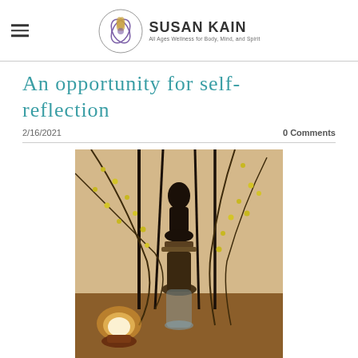Susan Kain — All Ages Wellness for Body, Mind, and Spirit
An opportunity for self-reflection
2/16/2021
0 Comments
[Figure (photo): A decorative arrangement featuring a black silhouette Buddha statue surrounded by forsythia branches with yellow blossoms in a glass vase, with a glowing salt lamp on the left, set on a wooden surface against a neutral wall background.]